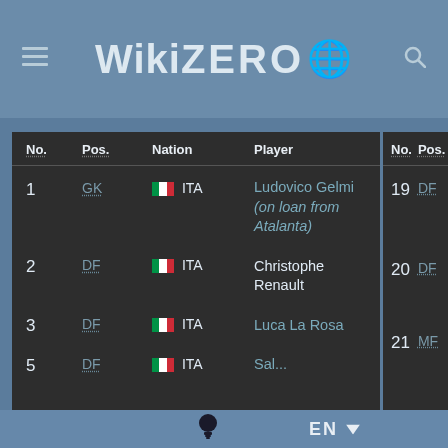WikiZero
| No. | Pos. | Nation | Player | No. | Pos. | Natio... |
| --- | --- | --- | --- | --- | --- | --- |
| 1 | GK | ITA | Ludovico Gelmi (on loan from Atalanta) | 19 | DF | IT... |
| 2 | DF | ITA | Christophe Renault | 20 | DF | IT... |
| 3 | DF | ITA | Luca La Rosa | 21 | MF | IT... |
| 5 | DF | ITA | ... |  |  |  |
EN